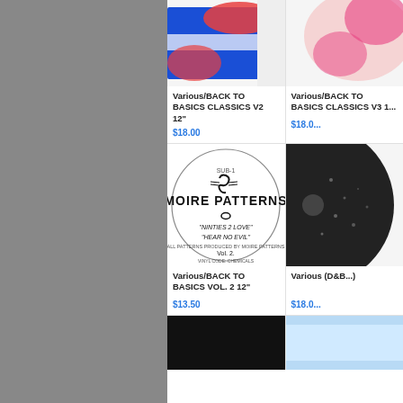[Figure (photo): Colorful vinyl record sleeve with blue, white, red abstract design — Various/BACK TO BASICS CLASSICS V2 12"]
Various/BACK TO BASICS CLASSICS V2 12"
$18.00
[Figure (photo): Partially visible vinyl record sleeve — Various/BACK TO BASICS CLASSICS V3 1...]
Various/BACK TO BASICS CLASSICS V3 1...
$18.0...
[Figure (photo): White vinyl record label with oval border — MOIRE PATTERNS, 'NINTIES 2 LOVE', 'HEAR NO EVIL', Vol. 2]
Various/BACK TO BASICS VOL. 2 12"
$13.50
[Figure (photo): Partially visible vinyl record — Various (D&B...)]
Various (D&B...)
$18.0...
[Figure (photo): Black vinyl record sleeve — bottom row left]
[Figure (photo): Light blue/white record sleeve — bottom row right (partially visible)]